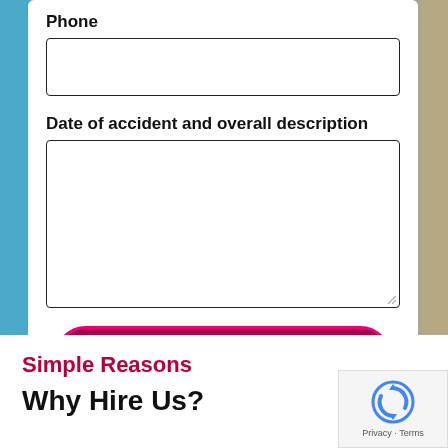Phone
Date of accident and overall description
Request Consultation
Simple Reasons
Why Hire Us?
[Figure (logo): reCAPTCHA logo with Privacy and Terms text]